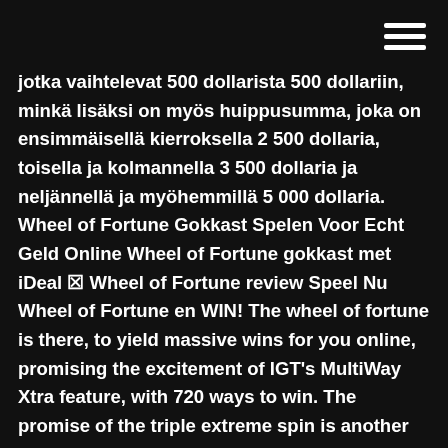jotka vaihtelevat 500 dollarista 500 dollariin, minkä lisäksi on myös huippusumma, joka on ensimmäisellä kierroksella 2 500 dollaria, toisella ja kolmannella 3 500 dollaria ja neljännellä ja myöhemmillä 5 000 dollaria. Wheel of Fortune Gokkast Spelen Voor Echt Geld Online Wheel of Fortune gokkast met iDeal ⬛ Wheel of Fortune review Speel Nu Wheel of Fortune en WIN! The wheel of fortune is there, to yield massive wins for you online, promising the excitement of IGT's MultiWay Xtra feature, with 720 ways to win. The promise of the triple extreme spin is another mind boggling opportunity in this Slot machine. They say that good things are always presented in a group of 3, as the opening of the game reminds you. Behöver du de bästa eller nyaste CS:GO-skinsen? Öppna kistor på Hellcase och